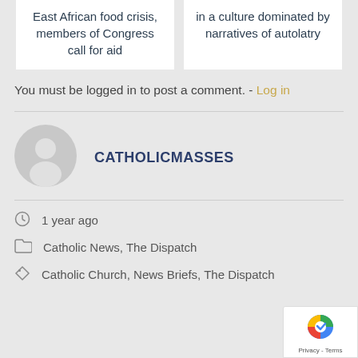East African food crisis, members of Congress call for aid
in a culture dominated by narratives of autolatry
You must be logged in to post a comment. - Log in
[Figure (illustration): Default user avatar - circular grey silhouette of a person]
CATHOLICMASSES
1 year ago
Catholic News, The Dispatch
Catholic Church, News Briefs, The Dispatch